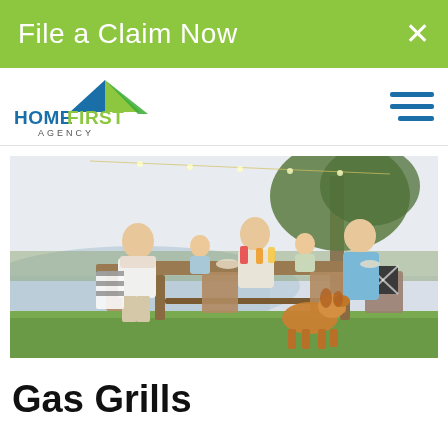File a Claim Now
[Figure (logo): HomeFirst Agency logo with roof/house icon in blue and green]
[Figure (photo): Family with two adults, two children, and a golden retriever dog seated at an outdoor wooden dining table on a lawn near a lake, with string lights and a tree in the background]
Gas Grills